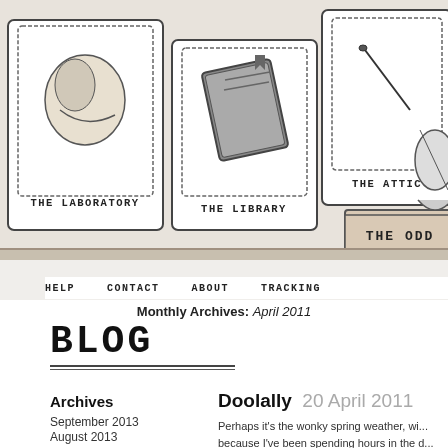[Figure (screenshot): Website header with decorative nav tabs: The Laboratory (sewing/craft icon), The Library (notebook icon), The Attic (needle and thread icon), The Odd (partially visible, trophy/harp icon). A horizontal shelf bar separates the nav from the secondary navigation.]
HELP   CONTACT   ABOUT   TRACKING
Monthly Archives: April 2011
BLOG
Archives
September 2013
August 2013
April 2013
March 2013
February 2013
December 2012
November 2012
October 2012
Doolally  20 April 2011
Perhaps it's the wonky spring weather, with... because I've been spending hours in the d...
Doolally is an adjective meaning feeble-m... century term doolally tap which is an army... town near Bombay where British soldiers ...